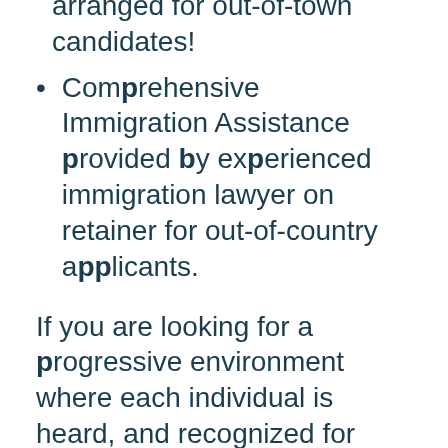arranged for out-of-town candidates!
Comprehensive Immigration Assistance provided by experienced immigration lawyer on retainer for out-of-country applicants.
If you are looking for a progressive environment where each individual is heard, and recognized for their unique contributions, we'd love to talk.
We are an equal opportunity employer and are committed to providing a respectful, inclusive, and diverse workplace.